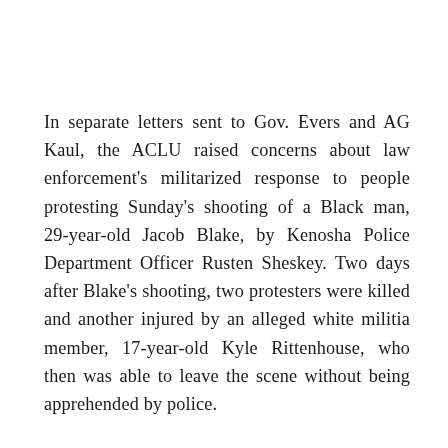In separate letters sent to Gov. Evers and AG Kaul, the ACLU raised concerns about law enforcement's militarized response to people protesting Sunday's shooting of a Black man, 29-year-old Jacob Blake, by Kenosha Police Department Officer Rusten Sheskey. Two days after Blake's shooting, two protesters were killed and another injured by an alleged white militia member, 17-year-old Kyle Rittenhouse, who then was able to leave the scene without being apprehended by police.